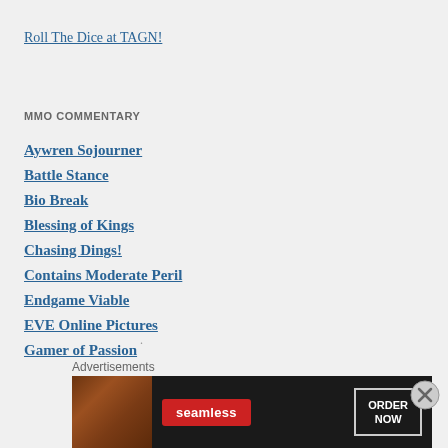Roll The Dice at TAGN!
MMO COMMENTARY
Aywren Sojourner
Battle Stance
Bio Break
Blessing of Kings
Chasing Dings!
Contains Moderate Peril
Endgame Viable
EVE Online Pictures
Gamer of Passion
.
Advertisements
[Figure (infographic): Seamless food delivery advertisement banner showing pizza with Seamless logo and ORDER NOW button]